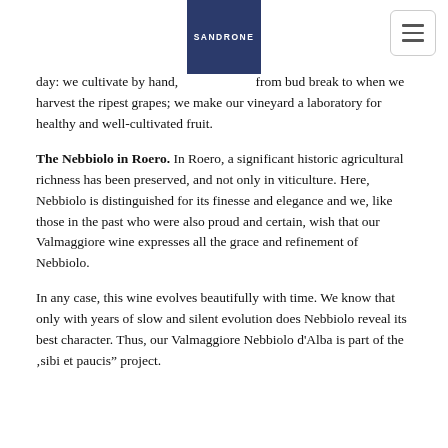[Figure (logo): Sandrone winery logo: dark navy blue rectangle with white text 'SANDRONE']
day: we cultivate by hand, from bud break to when we harvest the ripest grapes; we make our vineyard a laboratory for healthy and well-cultivated fruit.
The Nebbiolo in Roero. In Roero, a significant historic agricultural richness has been preserved, and not only in viticulture. Here, Nebbiolo is distinguished for its finesse and elegance and we, like those in the past who were also proud and certain, wish that our Valmaggiore wine expresses all the grace and refinement of Nebbiolo.
In any case, this wine evolves beautifully with time. We know that only with years of slow and silent evolution does Nebbiolo reveal its best character. Thus, our Valmaggiore Nebbiolo d'Alba is part of the ‚sibi et paucis” project.